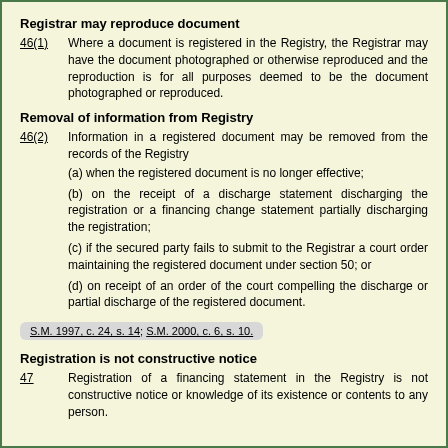Registrar may reproduce document
46(1)      Where a document is registered in the Registry, the Registrar may have the document photographed or otherwise reproduced and the reproduction is for all purposes deemed to be the document photographed or reproduced.
Removal of information from Registry
46(2)      Information in a registered document may be removed from the records of the Registry
(a) when the registered document is no longer effective;
(b) on the receipt of a discharge statement discharging the registration or a financing change statement partially discharging the registration;
(c) if the secured party fails to submit to the Registrar a court order maintaining the registered document under section 50; or
(d) on receipt of an order of the court compelling the discharge or partial discharge of the registered document.
S.M. 1997, c. 24, s. 14; S.M. 2000, c. 6, s. 10.
Registration is not constructive notice
47      Registration of a financing statement in the Registry is not constructive notice or knowledge of its existence or contents to any person.